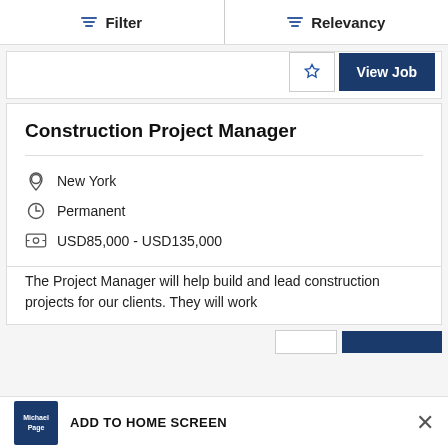Filter | Relevancy
View Job
Construction Project Manager
New York
Permanent
USD85,000 - USD135,000
The Project Manager will help build and lead construction projects for our clients. They will work
ADD TO HOME SCREEN